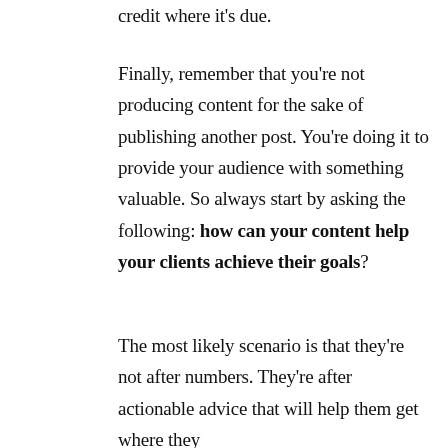credit where it's due.
Finally, remember that you're not producing content for the sake of publishing another post. You're doing it to provide your audience with something valuable. So always start by asking the following: how can your content help your clients achieve their goals?
The most likely scenario is that they're not after numbers. They're after actionable advice that will help them get where they want to be.